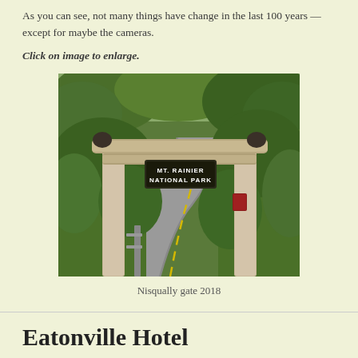As you can see, not many things have change in the last 100 years — except for maybe the cameras.
Click on image to enlarge.
[Figure (photo): Photo of the Nisqually gate entrance to Mt. Rainier National Park in 2018, showing a large wooden log arch structure over a road surrounded by green trees, with a sign reading MT. RAINIER NATIONAL PARK]
Nisqually gate 2018
Eatonville Hotel